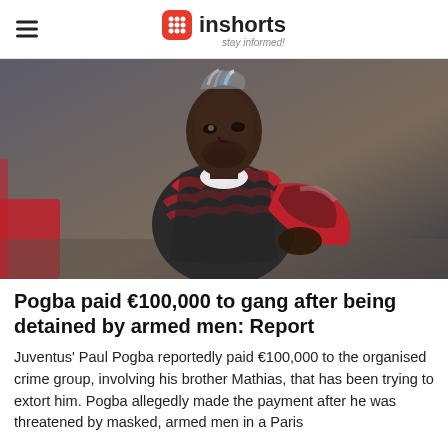inshorts — stay informed
[Figure (photo): Paul Pogba in a red and black camouflage training vest running on a pitch]
Pogba paid €100,000 to gang after being detained by armed men: Report
Juventus' Paul Pogba reportedly paid €100,000 to the organised crime group, involving his brother Mathias, that has been trying to extort him. Pogba allegedly made the payment after he was threatened by masked, armed men in a Paris